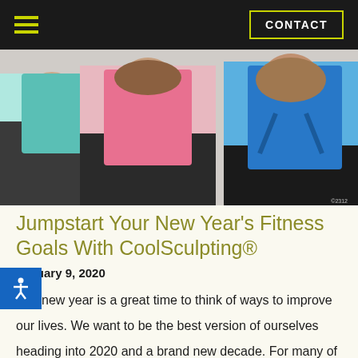Navigation bar with hamburger menu and CONTACT button
[Figure (photo): Three women from behind exercising, wearing colorful workout clothes (teal, pink, blue)]
Jumpstart Your New Year's Fitness Goals With CoolSculpting®
January 9, 2020
The new year is a great time to think of ways to improve our lives. We want to be the best version of ourselves heading into 2020 and a brand new decade. For many of us, fitness and health are part of our resolutions. But if you've ever felt uneasy while working out at the